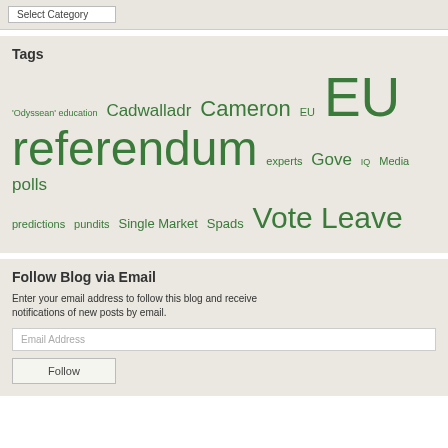Select Category
Tags
'Odyssean' education Cadwalladr Cameron EU EU referendum experts Gove IQ Media polls predictions pundits Single Market Spads Vote Leave
Follow Blog via Email
Enter your email address to follow this blog and receive notifications of new posts by email.
Email Address
Follow